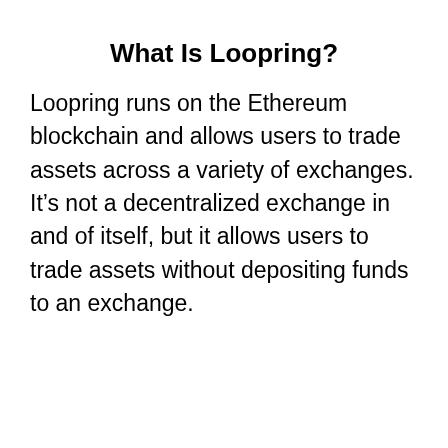What Is Loopring?
Loopring runs on the Ethereum blockchain and allows users to trade assets across a variety of exchanges. It’s not a decentralized exchange in and of itself, but it allows users to trade assets without depositing funds to an exchange.